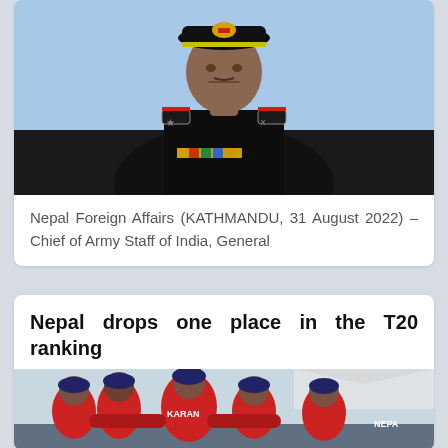[Figure (photo): Military officer in black uniform with medals and cap, against light blue background]
Nepal Foreign Affairs (KATHMANDU, 31 August 2022) – Chief of Army Staff of India, General
Nepal drops one place in the T20 ranking
[Figure (photo): Cricket team huddle, players in red and blue Nepal jerseys, one visible name KARAN on back of jersey]